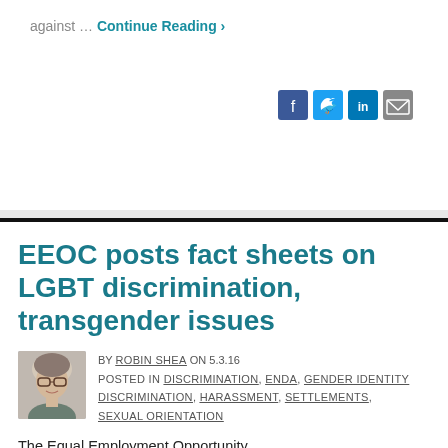against … Continue Reading ›
[Figure (infographic): Social sharing icons: Facebook, Twitter, LinkedIn, Email]
EEOC posts fact sheets on LGBT discrimination, transgender issues
BY ROBIN SHEA ON 5.3.16 POSTED IN DISCRIMINATION, ENDA, GENDER IDENTITY DISCRIMINATION, HARASSMENT, SETTLEMENTS, SEXUAL ORIENTATION
The Equal Employment Opportunity